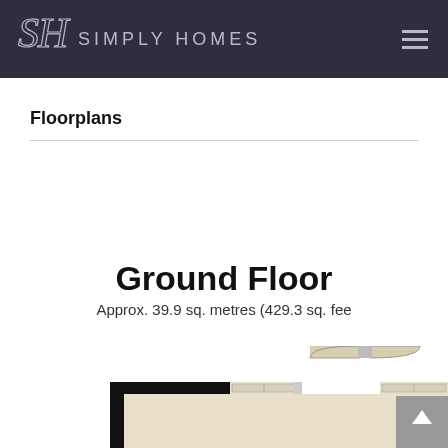SIMPLY HOMES
Floorplans
Ground Floor
Approx. 39.9 sq. metres (429.3 sq. feet)
[Figure (engineering-diagram): Partial ground floor floorplan showing walls, doors and room outlines in black and cream/beige colors, with double door arcs visible at top center.]